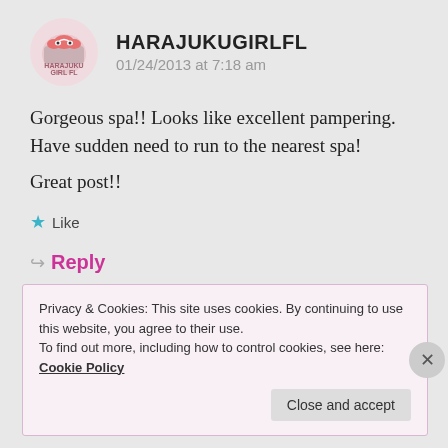[Figure (logo): Circular avatar logo for HarajukuGirlFL blog]
HARAJUKUGIRLFL
01/24/2013 at 7:18 am
Gorgeous spa!! Looks like excellent pampering. Have sudden need to run to the nearest spa!
Great post!!
★ Like
↪ Reply
Privacy & Cookies: This site uses cookies. By continuing to use this website, you agree to their use.
To find out more, including how to control cookies, see here:
Cookie Policy
Close and accept